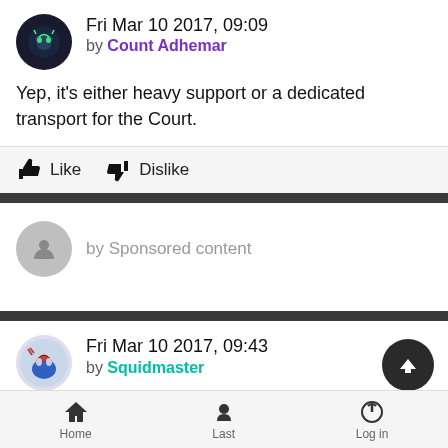Fri Mar 10 2017, 09:09 by Count Adhemar
Yep, it's either heavy support or a dedicated transport for the Court.
Like  Dislike
by Sponsored content
Fri Mar 10 2017, 09:43 by Squidmaster
Yes, its true. Meaning two Lhameans is the tax for two extra
Home  Last  Log in